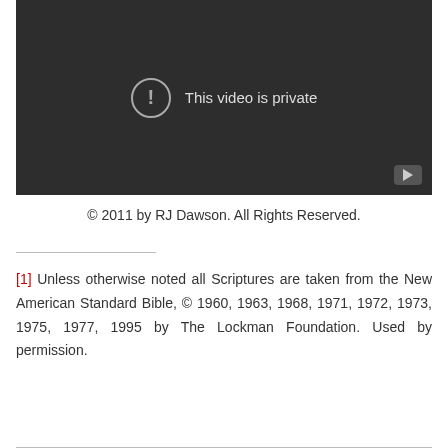[Figure (screenshot): A dark video player showing 'This video is private' message with an exclamation mark icon in a circle, and a YouTube icon in the bottom right corner.]
© 2011 by RJ Dawson. All Rights Reserved.
[1] Unless otherwise noted all Scriptures are taken from the New American Standard Bible, © 1960, 1963, 1968, 1971, 1972, 1973, 1975, 1977, 1995 by The Lockman Foundation. Used by permission.